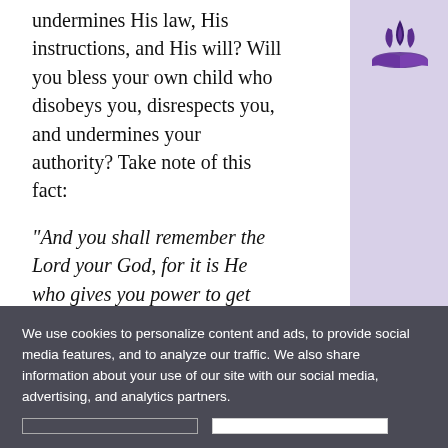undermines His law, His instructions, and His will? Will you bless your own child who disobeys you, disrespects you, and undermines your authority? Take note of this fact:
“And you shall remember the Lord your God, for it is He who gives you power to get wealth” (Deut. 8:18).
God has given us clear guidelines on issues of life, even financial matters. Unfortunately, we tend to wander far away from His will and do what we believe is right. Let us look at the things that make us fail to manage our finances:
Getting into debt
[Figure (logo): Seventh-day Adventist Church logo - flame/book emblem in purple]
We use cookies to personalize content and ads, to provide social media features, and to analyze our traffic. We also share information about your use of our site with our social media, advertising, and analytics partners.